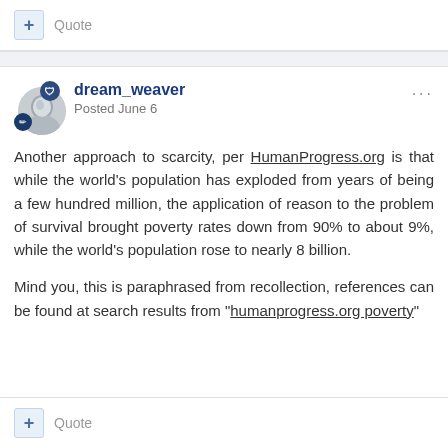+ Quote
dream_weaver
Posted June 6
Another approach to scarcity, per HumanProgress.org is that while the world's population has exploded from years of being a few hundred million, the application of reason to the problem of survival brought poverty rates down from 90% to about 9%, while the world's population rose to nearly 8 billion.
Mind you, this is paraphrased from recollection, references can be found at search results from "humanprogress.org poverty"
+ Quote